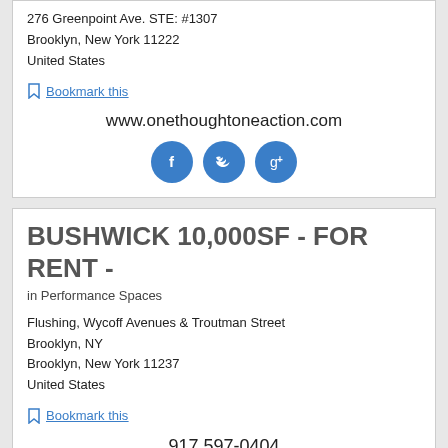276 Greenpoint Ave. STE: #1307
Brooklyn, New York 11222
United States
Bookmark this
www.onethoughtoneaction.com
[Figure (illustration): Three blue circle social media icons: Facebook, Twitter, Google+]
BUSHWICK 10,000SF - FOR RENT -
in Performance Spaces
Flushing, Wycoff Avenues & Troutman Street
Brooklyn, NY
Brooklyn, New York 11237
United States
Bookmark this
917 597-0404